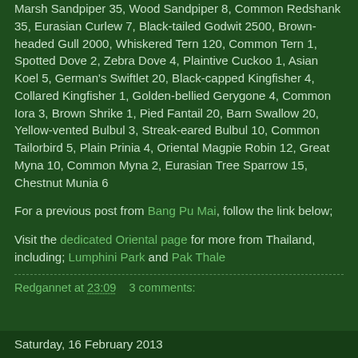Marsh Sandpiper 35, Wood Sandpiper 8, Common Redshank 35, Eurasian Curlew 7, Black-tailed Godwit 2500, Brown-headed Gull 2000, Whiskered Tern 120, Common Tern 1, Spotted Dove 2, Zebra Dove 4, Plaintive Cuckoo 1, Asian Koel 5, German's Swiftlet 20, Black-capped Kingfisher 4, Collared Kingfisher 1, Golden-bellied Gerygone 4, Common Iora 3, Brown Shrike 1, Pied Fantail 20, Barn Swallow 20, Yellow-vented Bulbul 3, Streak-eared Bulbul 10, Common Tailorbird 5, Plain Prinia 4, Oriental Magpie Robin 12, Great Myna 10, Common Myna 2, Eurasian Tree Sparrow 15, Chestnut Munia 6
For a previous post from Bang Pu Mai, follow the link below;
Visit the dedicated Oriental page for more from Thailand, including; Lumphini Park and Pak Thale
Redgannet at 23:09    3 comments:
Saturday, 16 February 2013